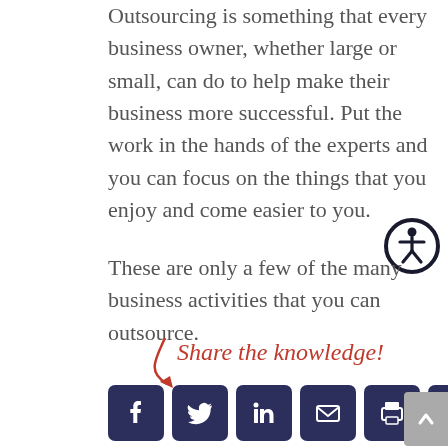Outsourcing is something that every business owner, whether large or small, can do to help make their business more successful. Put the work in the hands of the experts and you can focus on the things that you enjoy and come easier to you.
[Figure (infographic): Accessibility icon — circular button with human figure symbol, dark navy border on white background]
These are only a few of the many business activities that you can outsource.
[Figure (infographic): Share the knowledge! text in red cursive script with a red curved arrow pointing down-left toward social media icons]
[Figure (infographic): Row of social media share buttons: Facebook, Twitter, LinkedIn, Email, Print, Pinterest — dark navy square rounded icons with white symbols]
[Figure (infographic): Scroll-to-top button — grey rectangle with upward chevron arrow]
Submit a Comment
Your email address will
[Figure (infographic): Email us button — dark grey rounded rectangle with chat bubble icon and 'Email us' text in white]